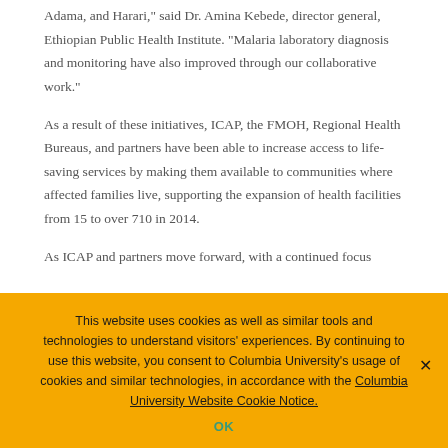Adama, and Harari," said Dr. Amina Kebede, director general, Ethiopian Public Health Institute. "Malaria laboratory diagnosis and monitoring have also improved through our collaborative work."
As a result of these initiatives, ICAP, the FMOH, Regional Health Bureaus, and partners have been able to increase access to life-saving services by making them available to communities where affected families live, supporting the expansion of health facilities from 15 to over 710 in 2014.
As ICAP and partners move forward, with a continued focus
This website uses cookies as well as similar tools and technologies to understand visitors' experiences. By continuing to use this website, you consent to Columbia University's usage of cookies and similar technologies, in accordance with the Columbia University Website Cookie Notice.
OK